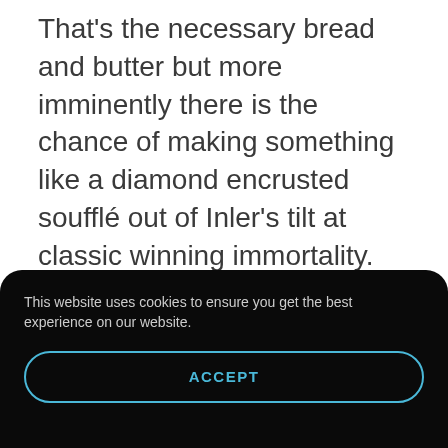That's the necessary bread and butter but more imminently there is the chance of making something like a diamond encrusted soufflé out of Inler's tilt at classic winning immortality. For although the Red Ransom colt's debut success at Newmarket last October was only in a maiden race he had already
This website uses cookies to ensure you get the best experience on our website.
ACCEPT